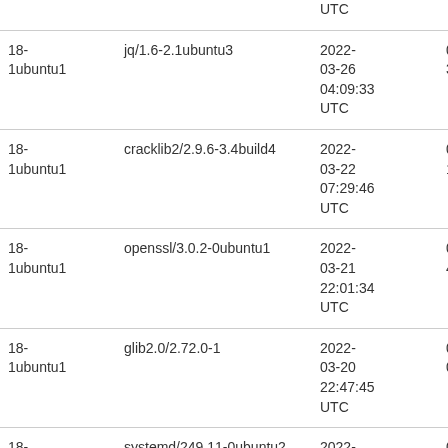| Version | Package | Date | Duration |
| --- | --- | --- | --- |
|  |  | UTC |  |
| 18-1ubuntu1 | jq/1.6-2.1ubuntu3 | 2022-03-26 04:09:33 UTC | 0h 1 39s |
| 18-1ubuntu1 | cracklib2/2.9.6-3.4build4 | 2022-03-22 07:29:46 UTC | 0h 1 11s |
| 18-1ubuntu1 | openssl/3.0.2-0ubuntu1 | 2022-03-21 22:01:34 UTC | 0h 1 43s |
| 18-1ubuntu1 | glib2.0/2.72.0-1 | 2022-03-20 22:47:45 UTC | 0h 1 01s |
| 18- | systemd/249.11-0ubuntu2 | 2022- | 0h 1 |